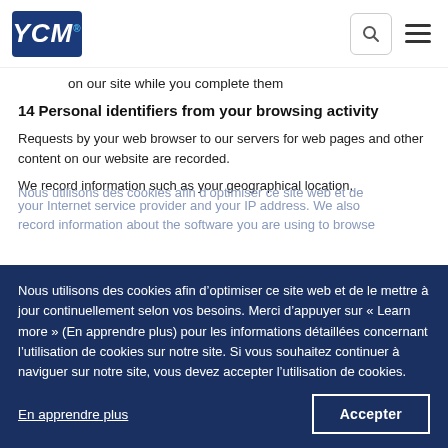YCM [logo] [search icon] [menu icon]
on our site while you complete them
14 Personal identifiers from your browsing activity
Requests by your web browser to our servers for web pages and other content on our website are recorded.
We record information such as your geographical location, your Internet service provider and your IP address. We also record information about the software you are using to browse our website, including your browser type and version, operating system, referral source, length of visit, page views and website navigation paths, as well as information about the timing, frequency and pattern of your service use. We collect this information via Google Analytics, a website analytics service provided by Google. This information could be used to assess the security of the items stored on this site. It is also used by providing context to you. It is combined with other information we know about you from previous visits, the data possibly could be used to identify you personally, even if you are not signed in to our website.
Nous utilisons des cookies afin d’optimiser ce site web et de le mettre à jour continuellement selon vos besoins. Merci d’appuyer sur « Learn more » (En apprendre plus) pour les informations détaillées concernant l’utilisation de cookies sur notre site. Si vous souhaitez continuer à naviguer sur notre site, vous devez accepter l’utilisation de cookies.
En apprendre plus
Accepter